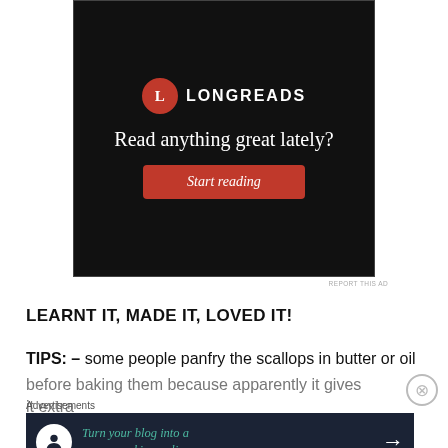[Figure (screenshot): Longreads advertisement banner with black background, red circle logo with 'L', text 'Read anything great lately?' and a red 'Start reading' button]
REPORT THIS AD
LEARNT IT, MADE IT, LOVED IT!
TIPS: – some people panfry the scallops in butter or oil before baking them because apparently it gives it extra
Advertisements
[Figure (screenshot): Advertisement: Turn your blog into a money-making online course. Dark navy background with teal italic text and white arrow.]